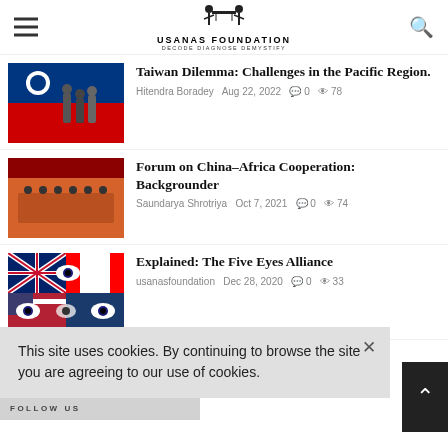USANAS FOUNDATION DECODE DIAGNOSE DEMYSTIFY
Taiwan Dilemma: Challenges in the Pacific Region.
Hitendra Boradey   Aug 22, 2022   0   78
Forum on China-Africa Cooperation: Backgrounder
Saundarya Shrotriya   Oct 7, 2021   0   74
Explained: The Five Eyes Alliance
usanasfoundation   Dec 28, 2020   0   33
This site uses cookies. By continuing to browse the site you are agreeing to our use of cookies.